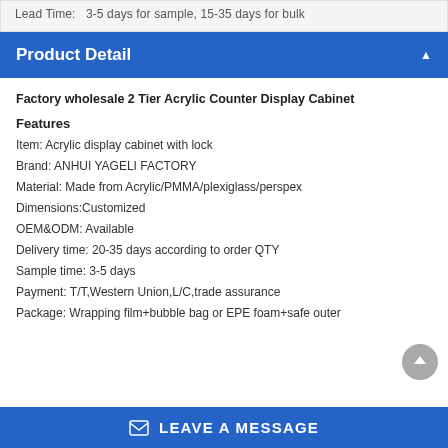Lead Time: 3-5 days for sample, 15-35 days for bulk
Product Detail
Factory wholesale 2 Tier Acrylic Counter Display Cabinet
Features
Item: Acrylic display cabinet with lock
Brand: ANHUI YAGELI FACTORY
Material: Made from Acrylic/PMMA/plexiglass/perspex
Dimensions:Customized
OEM&ODM: Available
Delivery time: 20-35 days according to order QTY
Sample time: 3-5 days
Payment: T/T,Western Union,L/C,trade assurance
Package: Wrapping film+bubble bag or EPE foam+safe outer
LEAVE A MESSAGE